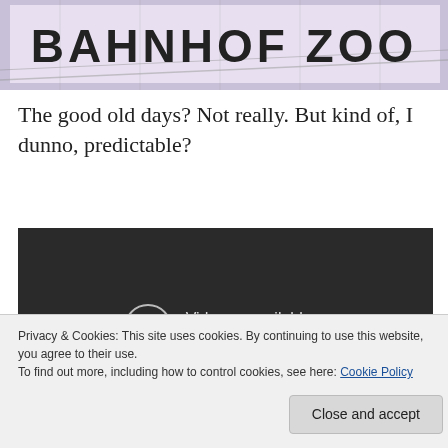[Figure (photo): Top portion of a sign reading BAHNHOF ZOO with lattice structure visible, slightly washed-out purple/pink sky background]
The good old days? Not really. But kind of, I dunno, predictable?
[Figure (screenshot): Embedded YouTube video player showing 'Video unavailable — This video is unavailable' message on dark background with exclamation mark icon]
Privacy & Cookies: This site uses cookies. By continuing to use this website, you agree to their use.
To find out more, including how to control cookies, see here: Cookie Policy